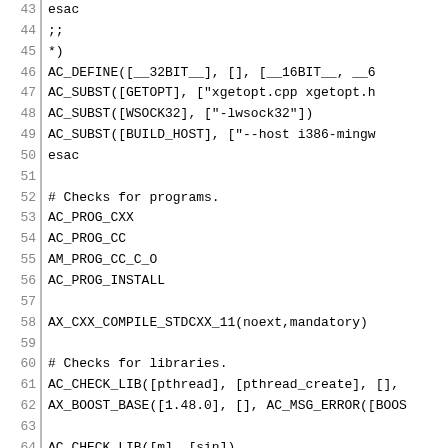Code listing lines 43-69, shell/autoconf script
| line | code |
| --- | --- |
| 43 |         esac |
| 44 |         ;; |
| 45 | *) |
| 46 |         AC_DEFINE([__32BIT__], [], [__16BIT__, __6 |
| 47 |         AC_SUBST([GETOPT], ["xgetopt.cpp xgetopt.h |
| 48 |         AC_SUBST([WSOCK32], ["-lwsock32"]) |
| 49 |         AC_SUBST([BUILD_HOST], ["--host i386-mingw |
| 50 | esac |
| 51 |  |
| 52 | # Checks for programs. |
| 53 | AC_PROG_CXX |
| 54 | AC_PROG_CC |
| 55 | AM_PROG_CC_C_O |
| 56 | AC_PROG_INSTALL |
| 57 |  |
| 58 | AX_CXX_COMPILE_STDCXX_11(noext,mandatory) |
| 59 |  |
| 60 | # Checks for libraries. |
| 61 | AC_CHECK_LIB([pthread], [pthread_create], [], |
| 62 | AX_BOOST_BASE([1.48.0], [], AC_MSG_ERROR([BOOS |
| 63 |  |
| 64 | AC_CHECK_LIB([m], [sin]) |
| 65 |  |
| 66 | # Checks for header files. |
| 67 | AC_MSG_CHECKING([for OS type]) |
| 68 | AC_PREPROC_IFELSE( |
| 69 |         [AC_LANG_SOURCE([ |